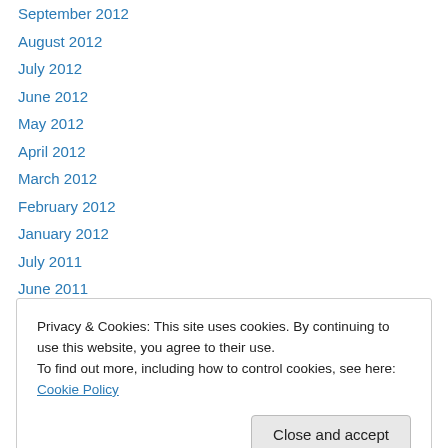September 2012
August 2012
July 2012
June 2012
May 2012
April 2012
March 2012
February 2012
January 2012
July 2011
June 2011
May 2011
April 2011
Privacy & Cookies: This site uses cookies. By continuing to use this website, you agree to their use. To find out more, including how to control cookies, see here: Cookie Policy
Close and accept